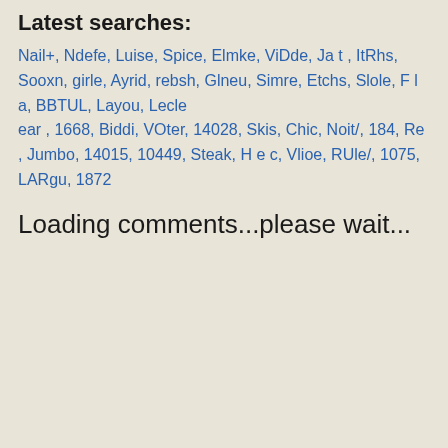Latest searches:
Nail+, Ndefe, Luise, Spice, Elmke, ViDde, Ja t , ItRhs, Sooxn, girle, Ayrid, rebsh, Glneu, Simre, Etchs, Slole, F l a, BBTUL, Layou, Lecle ear , 1668, Biddi, VOter, 14028, Skis, Chic, Noit/, 184, Re , Jumbo, 14015, 10449, Steak, H e c, Vlioe, RUle/, 1075, LARgu, 1872
Loading comments...please wait...